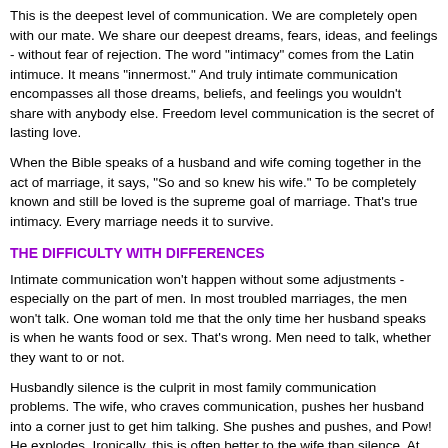This is the deepest level of communication. We are completely open with our mate. We share our deepest dreams, fears, ideas, and feelings - without fear of rejection. The word "intimacy" comes from the Latin intimuce. It means "innermost." And truly intimate communication encompasses all those dreams, beliefs, and feelings you wouldn't share with anybody else. Freedom level communication is the secret of lasting love.
When the Bible speaks of a husband and wife coming together in the act of marriage, it says, "So and so knew his wife." To be completely known and still be loved is the supreme goal of marriage. That's true intimacy. Every marriage needs it to survive.
THE DIFFICULTY WITH DIFFERENCES
Intimate communication won't happen without some adjustments - especially on the part of men. In most troubled marriages, the men won't talk. One woman told me that the only time her husband speaks is when he wants food or sex. That's wrong. Men need to talk, whether they want to or not.
Husbandly silence is the culprit in most family communication problems. The wife, who craves communication, pushes her husband into a corner just to get him talking. She pushes and pushes, and Pow! He explodes. Ironically, this is often better to the wife than silence. At least she has his full attention. I'm not saying she intends to pick a fight. But deep down within her there is something that prefers argument to silence. She wants communication. That's understandable. That's how God made her.
Have you noticed how many books there are on marriage? On intimacy?